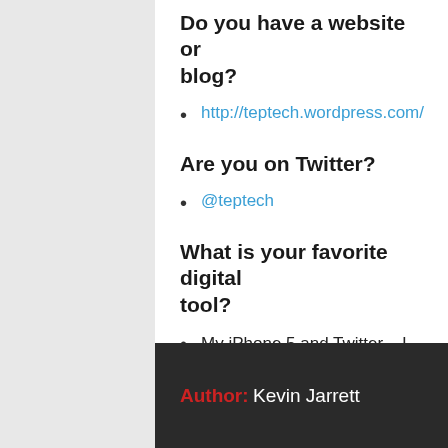Do you have a website or blog?
http://teptech.wordpress.com/
Are you on Twitter?
@teptech
What is your favorite digital tool?
My iPhone 5 and Twitter – I can't pick just one!
Author: Kevin Jarrett